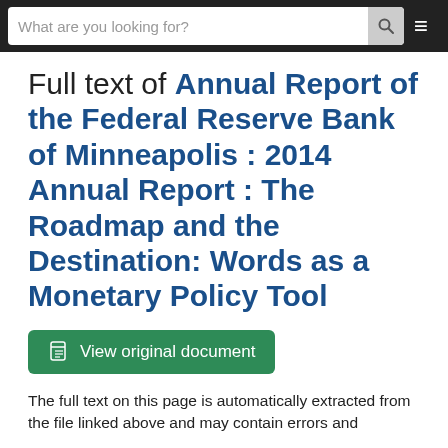What are you looking for?
Full text of Annual Report of the Federal Reserve Bank of Minneapolis : 2014 Annual Report : The Roadmap and the Destination: Words as a Monetary Policy Tool
View original document
The full text on this page is automatically extracted from the file linked above and may contain errors and